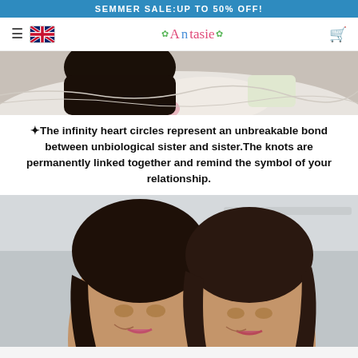SEMMER SALE:UP TO 50% OFF!
[Figure (screenshot): Website navigation bar with hamburger menu, UK flag icon, Antasie logo in pink/red with green leaf decorations, and cart icon on the right]
[Figure (photo): Cropped photo of a woman lying on a bed with white bedding and pillows, reading or holding something]
❧The infinity heart circles represent an unbreakable bond between unbiological sister and sister.The knots are permanently linked together and remind the symbol of your relationship.
[Figure (photo): Photo of two young women with dark hair smiling closely together, light background]